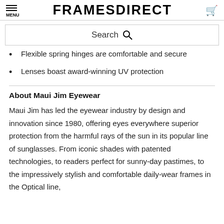MENU | FRAMESDIRECT | cart
Search
Flexible spring hinges are comfortable and secure
Lenses boast award-winning UV protection
About Maui Jim Eyewear
Maui Jim has led the eyewear industry by design and innovation since 1980, offering eyes everywhere superior protection from the harmful rays of the sun in its popular line of sunglasses. From iconic shades with patented technologies, to readers perfect for sunny-day pastimes, to the impressively stylish and comfortable daily-wear frames in the Optical line,